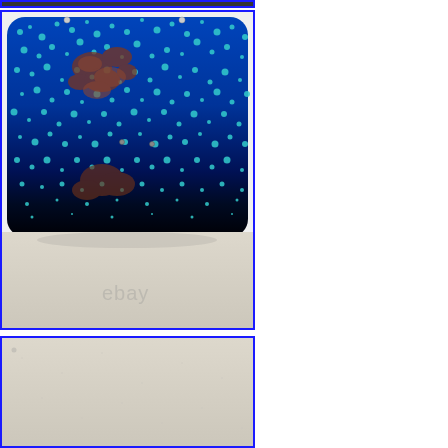[Figure (photo): Partial view of a decorative object with colorful pattern, shown at top, with blue border]
[Figure (photo): Close-up photo of a blue and turquoise speckled/mottled ceramic or glass art object with dark base, placed on a light beige surface. An eBay watermark is visible at the bottom. Blue border around image.]
[Figure (photo): Partial bottom photo showing a beige/cream surface, very bottom of the series of product photos. Blue border around image.]